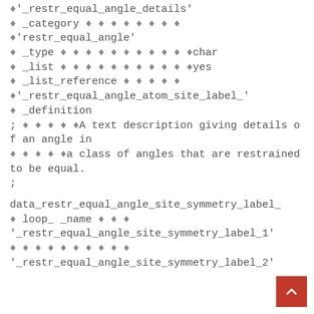'_restr_equal_angle_details'
♦ _category ♦ ♦ ♦ ♦ ♦ ♦ ♦ ♦
♦'restr_equal_angle'
♦ _type ♦ ♦ ♦ ♦ ♦ ♦ ♦ ♦ ♦ ♦ ♦char
♦ _list ♦ ♦ ♦ ♦ ♦ ♦ ♦ ♦ ♦ ♦ ♦yes
♦ _list_reference ♦ ♦ ♦ ♦ ♦
♦'_restr_equal_angle_atom_site_label_'
♦ _definition
; ♦ ♦ ♦ ♦ ♦A text description giving details of an angle in
♦ ♦ ♦ ♦ ♦a class of angles that are restrained to be equal.
;
data_restr_equal_angle_site_symmetry_label_
♦ loop_ _name ♦ ♦ ♦
'_restr_equal_angle_site_symmetry_label_1'
♦ ♦ ♦ ♦ ♦ ♦ ♦ ♦ ♦ ♦
'_restr_equal_angle_site_symmetry_label_2'